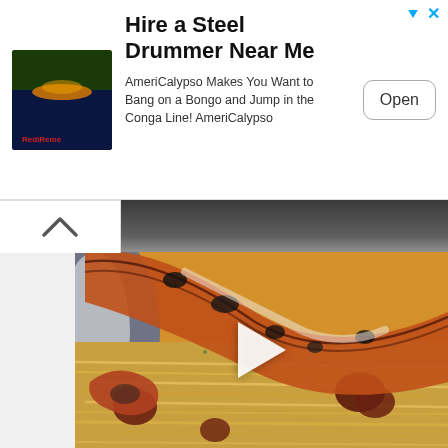[Figure (screenshot): Mobile advertisement banner for 'AmeriCalypso' - Hire a Steel Drummer Near Me. Shows thumbnail image of sunset/tropical scene, ad title, description text, and Open button. Blue arrow and X close icons in top right.]
Hire a Steel Drummer Near Me
AmeriCalypso Makes You Want to Bang on a Bongo and Jump in the Conga Line! AmeriCalypso
[Figure (photo): Close-up food photo of grilled lobster/prawns over pasta noodles with sausage pieces, on a decorative blue and white plate. A white play button triangle is overlaid in the center of the image.]